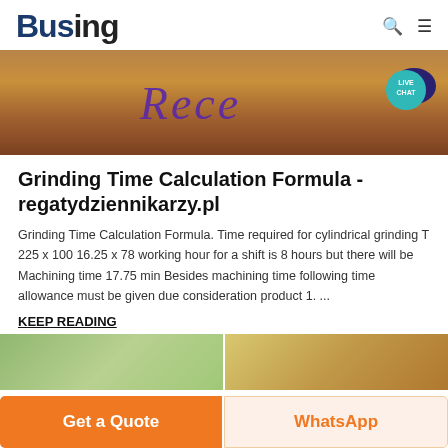Busing
[Figure (photo): Banner image showing a brown/tan earthy surface with purple italic text overlay reading 'Rece...' and a teal 'LIVE CHAT' badge in the top right corner]
Grinding Time Calculation Formula - regatydziennikarzy.pl
Grinding Time Calculation Formula. Time required for cylindrical grinding T 225 x 100 16.25 x 78 working hour for a shift is 8 hours but there will be Machining time 17.75 min Besides machining time following time allowance must be given due consideration product 1. ...
KEEP READING
[Figure (photo): Bottom banner showing outdoor scene with trees and buildings, split into two panels]
Get a Quote
WhatsApp